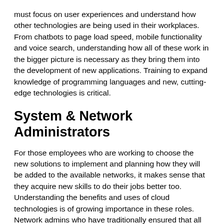must focus on user experiences and understand how other technologies are being used in their workplaces. From chatbots to page load speed, mobile functionality and voice search, understanding how all of these work in the bigger picture is necessary as they bring them into the development of new applications. Training to expand knowledge of programming languages and new, cutting-edge technologies is critical.
System & Network Administrators
For those employees who are working to choose the new solutions to implement and planning how they will be added to the available networks, it makes sense that they acquire new skills to do their jobs better too. Understanding the benefits and uses of cloud technologies is of growing importance in these roles. Network admins who have traditionally ensured that all systems were performing well must also grow their capabilities to meet today's needs. Infrastructures are